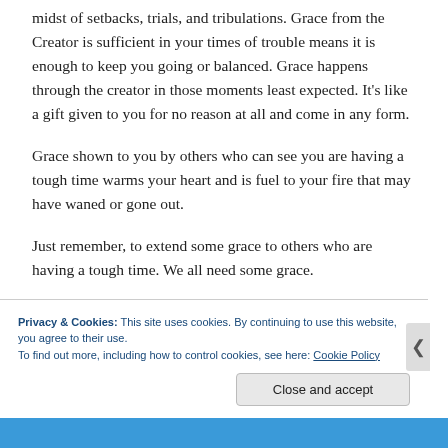midst of setbacks, trials, and tribulations. Grace from the Creator is sufficient in your times of trouble means it is enough to keep you going or balanced. Grace happens through the creator in those moments least expected. It's like a gift given to you for no reason at all and come in any form.
Grace shown to you by others who can see you are having a tough time warms your heart and is fuel to your fire that may have waned or gone out.
Just remember, to extend some grace to others who are having a tough time. We all need some grace.
Privacy & Cookies: This site uses cookies. By continuing to use this website, you agree to their use.
To find out more, including how to control cookies, see here: Cookie Policy
Close and accept